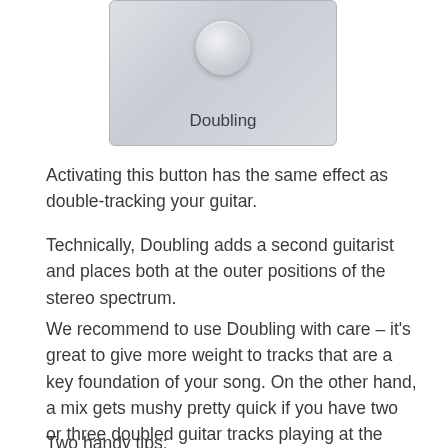[Figure (screenshot): A UI button labeled 'Doubling' with a round knob/button element above the text, set against a light grey textured background panel.]
Activating this button has the same effect as double-tracking your guitar.
Technically, Doubling adds a second guitarist and places both at the outer positions of the stereo spectrum.
We recommend to use Doubling with care – it's great to give more weight to tracks that are a key foundation of your song. On the other hand, a mix gets mushy pretty quick if you have two or three doubled guitar tracks playing at the same time.
Two handy tips: